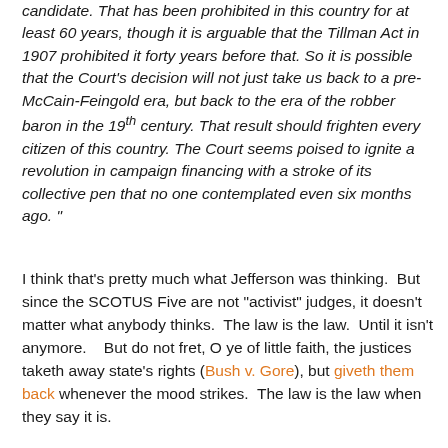candidate. That has been prohibited in this country for at least 60 years, though it is arguable that the Tillman Act in 1907 prohibited it forty years before that. So it is possible that the Court's decision will not just take us back to a pre-McCain-Feingold era, but back to the era of the robber baron in the 19th century. That result should frighten every citizen of this country. The Court seems poised to ignite a revolution in campaign financing with a stroke of its collective pen that no one contemplated even six months ago. "
I think that's pretty much what Jefferson was thinking.  But since the SCOTUS Five are not "activist" judges, it doesn't matter what anybody thinks.  The law is the law.  Until it isn't anymore.   But do not fret, O ye of little faith, the justices taketh away state's rights (Bush v. Gore), but giveth them back whenever the mood strikes.  The law is the law when they say it is.